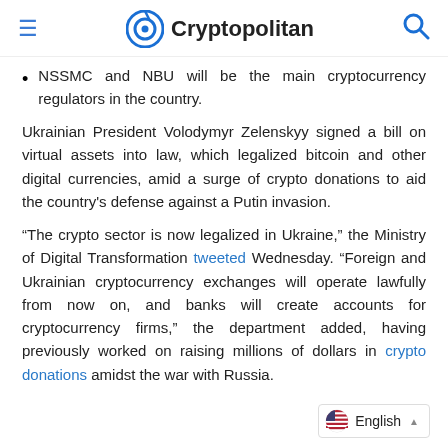Cryptopolitan
NSSMC and NBU will be the main cryptocurrency regulators in the country.
Ukrainian President Volodymyr Zelenskyy signed a bill on virtual assets into law, which legalized bitcoin and other digital currencies, amid a surge of crypto donations to aid the country's defense against a Putin invasion.
“The crypto sector is now legalized in Ukraine,” the Ministry of Digital Transformation tweeted Wednesday. “Foreign and Ukrainian cryptocurrency exchanges will operate lawfully from now on, and banks will create accounts for cryptocurrency firms,” the department added, having previously worked on raising millions of dollars in crypto donations amidst the war with Russia.